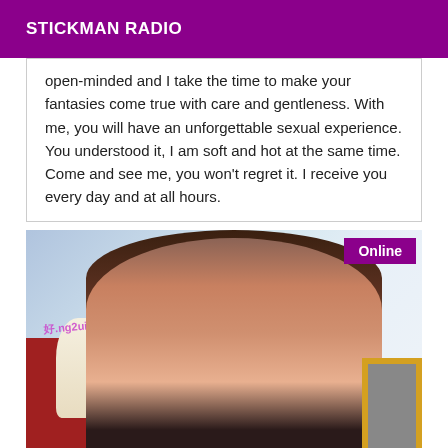STICKMAN RADIO
open-minded and I take the time to make your fantasies come true with care and gentleness. With me, you will have an unforgettable sexual experience. You understood it, I am soft and hot at the same time. Come and see me, you won't regret it. I receive you every day and at all hours.
[Figure (photo): Photo of a young Asian woman with shoulder-length brown hair sitting indoors near a lamp and red furniture. An 'Online' badge appears in the top-right corner of the image.]